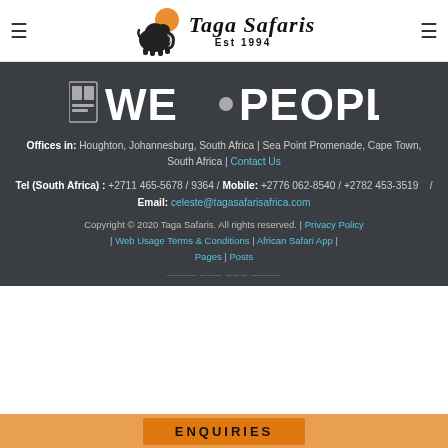Taga Safaris — Est 1994 (navigation header with logo)
[Figure (logo): We People logo — large stylized text 'WE:PEOPLE' in white on dark background with icon to the left]
Offices in: Houghton, Johannesburg, South Africa | Sea Point Promenade, Cape Town, South Africa | Contact Us
Tel (South Africa) : +2711 465-5678 / 9364 / Mobile: +2776 062-8540 / +2782 453-3519 /
Email: celeste@tagasafarisafrica.com
Copyright © 2020 Taga Safaris. All rights reserved. | Privacy Policy | Web Usage Terms & Conditions | African Safari App | Pages | Posts
ENQUIRIES